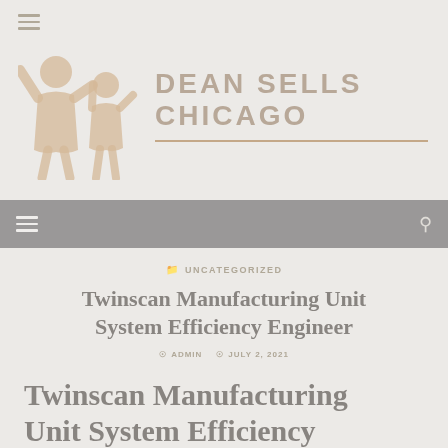[Figure (logo): Dean Sells Chicago logo with two human figures silhouettes in tan/beige color, one taller and one shorter, holding hands or reaching up]
DEAN SELLS CHICAGO
UNCATEGORIZED
Twinscan Manufacturing Unit System Efficiency Engineer
ADMIN   JULY 2, 2021
Twinscan Manufacturing Unit System Efficiency